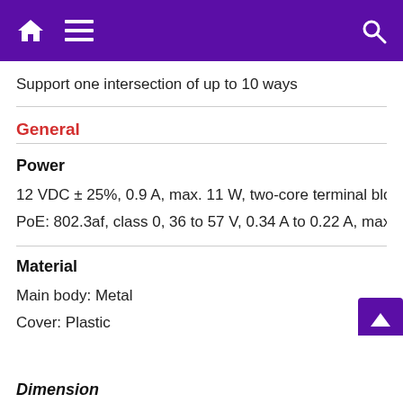Support one intersection of up to 10 ways
General
Power
12 VDC ± 25%, 0.9 A, max. 11 W, two-core terminal block
PoE: 802.3af, class 0, 36 to 57 V, 0.34 A to 0.22 A, max. 12
Material
Main body: Metal
Cover: Plastic
Dimension